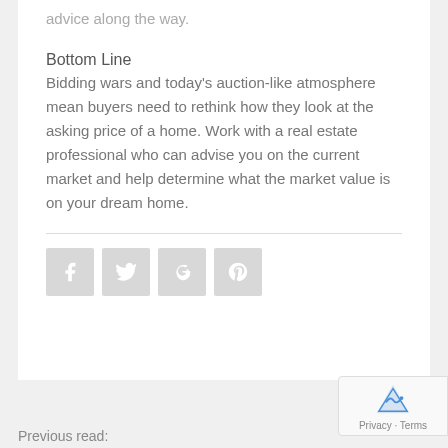advice along the way.
Bottom Line
Bidding wars and today's auction-like atmosphere mean buyers need to rethink how they look at the asking price of a home. Work with a real estate professional who can advise you on the current market and help determine what the market value is on your dream home.
[Figure (other): Social share icons: Facebook, Twitter, Google+, Pinterest]
Previous read: